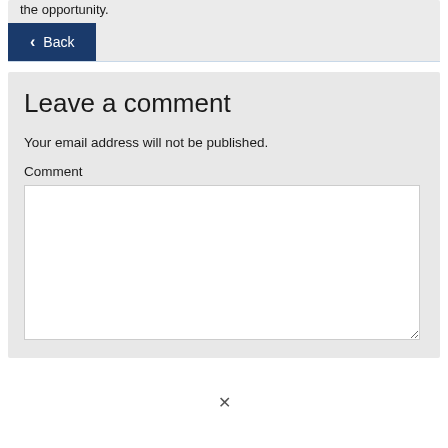the opportunity.
[Figure (screenshot): Back button with dark blue background and white text with left arrow chevron]
Leave a comment
Your email address will not be published.
Comment
[Figure (screenshot): Empty white comment textarea input box]